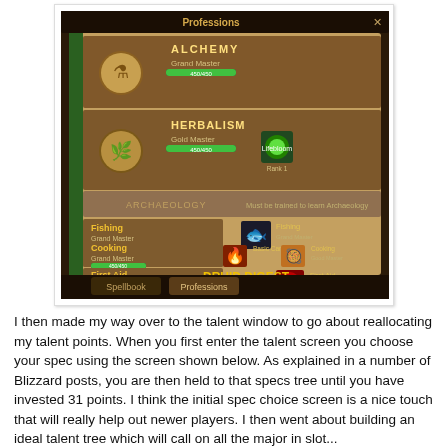[Figure (screenshot): World of Warcraft Professions window showing Alchemy (Grand Master, 450/450), Herbalism (Gold Master, 450/450 with Lifebloom Rank 1), Archaeology (needs a trainer), Fishing (Grand Master, 450/450), Cooking (Grand Master, 450/450 with Basic Campfire and Cooking), First Aid (Grand Master, 450/450 with First Aid). Watermark: DRUID DIGEST / druiddigest.blogspot.com]
I then made my way over to the talent window to go about reallocating my talent points. When you first enter the talent screen you choose your spec using the screen shown below. As explained in a number of Blizzard posts, you are then held to that specs tree until you have invested 31 points. I think the initial spec choice screen is a nice touch that will really help out newer players. I then went about building an ideal talent tree which will call on all the major in slot...